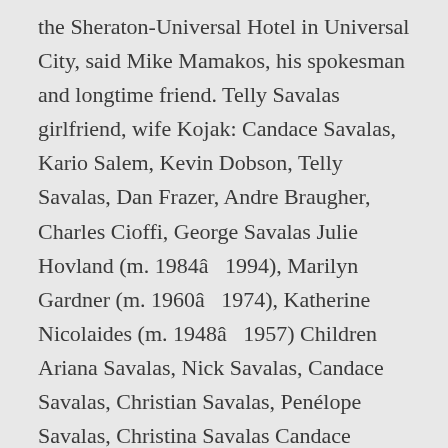the Sheraton-Universal Hotel in Universal City, said Mike Mamakos, his spokesman and longtime friend. Telly Savalas girlfriend, wife Kojak: Candace Savalas, Kario Salem, Kevin Dobson, Telly Savalas, Dan Frazer, Andre Braugher, Charles Cioffi, George Savalas Julie Hovland (m. 1984â1994), Marilyn Gardner (m. 1960â1974), Katherine Nicolaides (m. 1948â1957) Children Ariana Savalas, Nick Savalas, Candace Savalas, Christian Savalas, Penélope Savalas, Christina Savalas Candace Savalas is an actress. Help us build our profile of Telly Savalas and Marilyn Gardner! His younger brother, George Savalas, starred in Kojak (1973) with him. Marilyn Gardner has been divorced from Telly Savalas since 1974